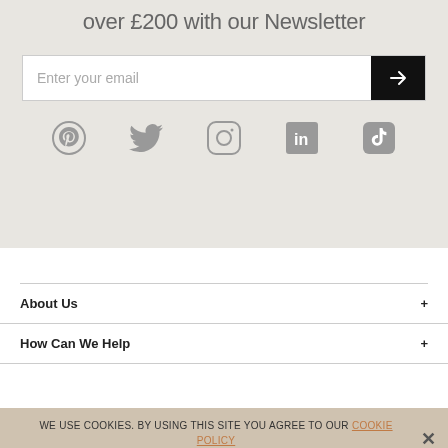over £200 with our Newsletter
[Figure (screenshot): Email input field with white background and placeholder text 'Enter your email', with a black submit button containing a right arrow icon]
[Figure (infographic): Row of five social media icons: Pinterest, Twitter, Instagram, LinkedIn, TikTok — all in grey]
About Us
How Can We Help
WE USE COOKIES. BY USING THIS SITE YOU AGREE TO OUR COOKIE POLICY